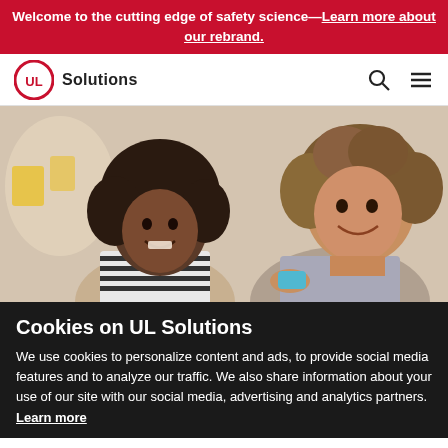Welcome to the cutting edge of safety science—Learn more about our rebrand.
[Figure (logo): UL Solutions logo with red circle UL mark and 'Solutions' text]
[Figure (photo): Woman and young girl smiling and looking at something together, likely a craft or product activity]
Cookies on UL Solutions
We use cookies to personalize content and ads, to provide social media features and to analyze our traffic. We also share information about your use of our site with our social media, advertising and analytics partners. Learn more